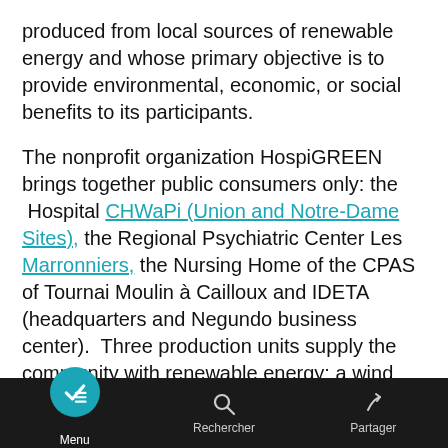produced from local sources of renewable energy and whose primary objective is to provide environmental, economic, or social benefits to its participants.
The nonprofit organization HospiGREEN brings together public consumers only: the Hospital CHWaPi (Union and Notre-Dame Sites), the Regional Psychiatric Center Les Marronniers, the Nursing Home of the CPAS of Tournai Moulin à Cailloux and IDETA (headquarters and Negundo business center). Three production units supply the community with renewable energy: a wind turbine from the Tournai West wind farm (2.2 MW) and two photovoltaic production units (120kwc) installed on the roofs of the Negundo business center in Tournai West.
The CHWapi Hospital, the Psychiatric Center Les
Menu   Rechercher   Partager